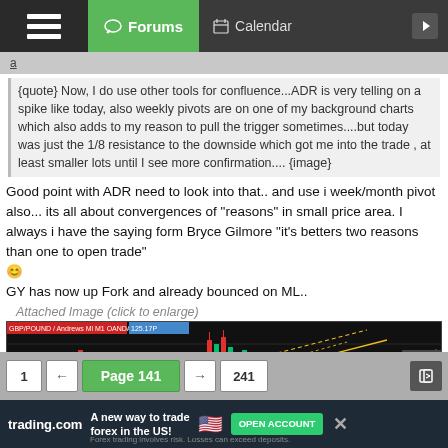Forums | Calendar
{quote} Now, I do use other tools for confluence...ADR is very telling on a spike like today, also weekly pivots are on one of my background charts which also adds to my reason to pull the trigger sometimes....but today was just the 1/8 resistance to the downside which got me into the trade , at least smaller lots until I see more confirmation.... {image}
Good point with ADR need to look into that.. and use i week/month pivot also... its all about convergences of "reasons" in small price area. I always i have the saying form Bryce Gilmore "it's betters two reasons than one to open trade" 😊
GY has now up Fork and already bounced on ML..
Attached Image (click to enlarge)
[Figure (screenshot): Candlestick chart showing GBP/USD with Pitchfork (Andrew's Fork) lines overlaid, displaying price action on a dark background with green and red candles, yellow diagonal fork lines, and a horizontal magenta/pink line.]
1 ← Page 141 → 241